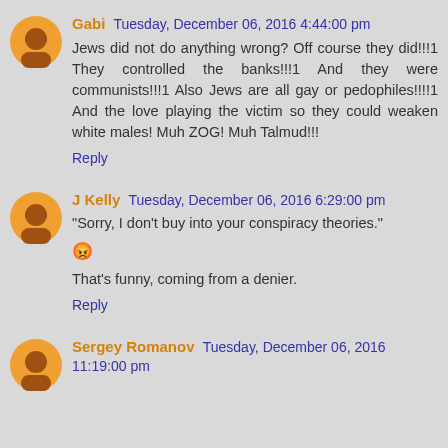Gabi  Tuesday, December 06, 2016 4:44:00 pm
Jews did not do anything wrong? Off course they did!!!1 They controlled the banks!!!1 And they were communists!!!1 Also Jews are all gay or pedophiles!!!!1 And the love playing the victim so they could weaken white males! Muh ZOG! Muh Talmud!!!
Reply
J Kelly  Tuesday, December 06, 2016 6:29:00 pm
"Sorry, I don't buy into your conspiracy theories."
😒
That's funny, coming from a denier.
Reply
Sergey Romanov  Tuesday, December 06, 2016 11:19:00 pm